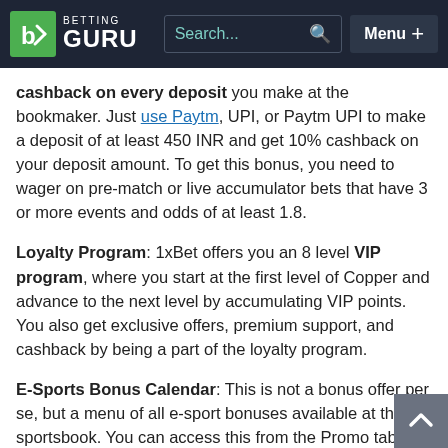BETTING GURU — Search... Menu +
cashback on every deposit you make at the bookmaker. Just use Paytm, UPI, or Paytm UPI to make a deposit of at least 450 INR and get 10% cashback on your deposit amount. To get this bonus, you need to wager on pre-match or live accumulator bets that have 3 or more events and odds of at least 1.8.
Loyalty Program: 1xBet offers you an 8 level VIP program, where you start at the first level of Copper and advance to the next level by accumulating VIP points. You also get exclusive offers, premium support, and cashback by being a part of the loyalty program.
E-Sports Bonus Calendar: This is not a bonus offer per se, but a menu of all e-sport bonuses available at the sportsbook. You can access this from the Promo tab to check which offers you can avail for the day as well as the